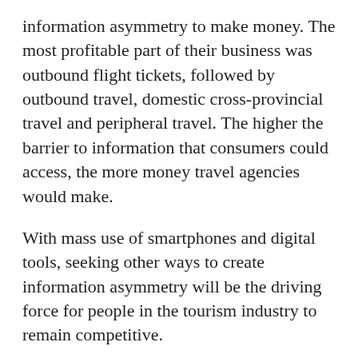information asymmetry to make money. The most profitable part of their business was outbound flight tickets, followed by outbound travel, domestic cross-provincial travel and peripheral travel. The higher the barrier to information that consumers could access, the more money travel agencies would make.
With mass use of smartphones and digital tools, seeking other ways to create information asymmetry will be the driving force for people in the tourism industry to remain competitive.
The old-fashioned approaches, such as drumming up customers and organizing local receptions, cannot meet consumer demand anymore. Nowadays, travel agencies not only need to be able to make itineraries for customized services but also need to run e-commerce platforms. They must provide valuable